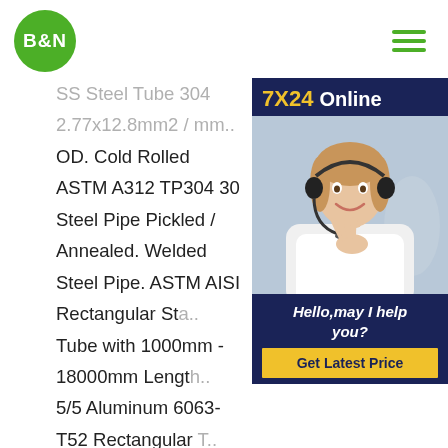B&N
[Figure (photo): Customer service representative with headset, 7X24 Online widget with Hello may I help you? and Get Latest Price button]
SS Steel Tube 304 2.77x12.8mm2 / mm.. OD. Cold Rolled ASTM A312 TP304 30 Steel Pipe Pickled / Annealed. Welded Steel Pipe. ASTM AISI Rectangular Sta.. Tube with 1000mm - 18000mm Length. 5/5 Aluminum 6063-T52 Rectangular T.. 6063 aluminum rectangular tubing with.. meets American Society for Testing an.. International ASTM B221 specifications. The 6063 aluminum alloy, also known as architectural aluminum, is a medium-strength material with excellent corrosion resistance and good weldability.Weld plate questions - WoodenBoatOct 30, 2019The best way to answer that depends on the